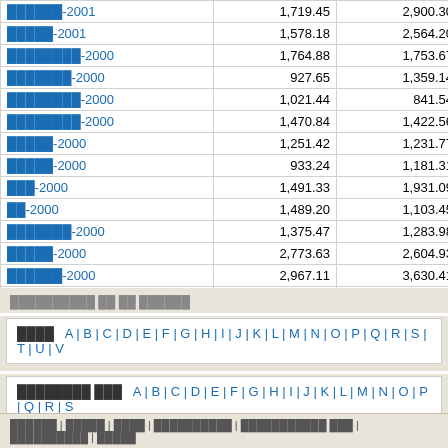| Name | Value1 | Value2 | Diff |
| --- | --- | --- | --- |
| ██████-2001 | 1,719.45 | 2,900.30 | -1,181 |
| █████-2001 | 1,578.18 | 2,564.20 | -924 |
| ████████-2000 | 1,764.88 | 1,753.67 | 11 |
| ███████-2000 | 927.65 | 1,359.14 | -431 |
| ████████-2000 | 1,021.44 | 841.54 | 179 |
| ████████-2000 | 1,470.84 | 1,422.56 | 243 |
| █████-2000 | 1,251.42 | 1,231.77 | 19 |
| █████-2000 | 933.24 | 1,181.31 | -248 |
| ███-2000 | 1,491.33 | 1,931.09 | -439 |
| ██-2000 | 1,489.20 | 1,103.45 | 385 |
| ███████-2000 | 1,375.47 | 1,283.98 | 91 |
| █████-2000 | 2,773.63 | 2,604.93 | 168 |
| ██████-2000 | 2,967.11 | 3,630.41 | -663 |
| TOTAL | 6,438,592.85 | 5,937,939.08 | 503,562 |
██████████ ██ ██ ██████
████  A|B|C|D|E|F|G|H|I|J|K|L|M|N|O|P|Q|R|S|T|U|V
████████ ███  A|B|C|D|E|F|G|H|I|J|K|L|M|N|O|P|Q|R|S
██████ | █████ | ████ | ██████████ | ███████████ ███ | ██████████ | █████